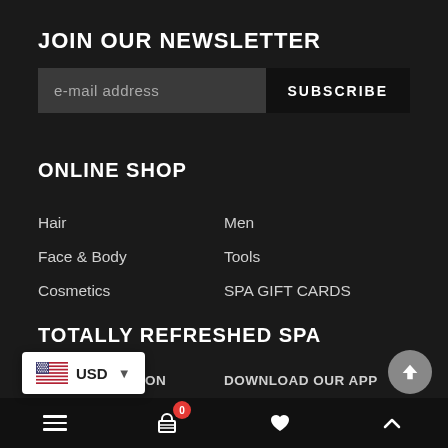JOIN OUR NEWSLETTER
e-mail address
SUBSCRIBE
ONLINE SHOP
Hair
Men
Face & Body
Tools
Cosmetics
SPA GIFT CARDS
TOTALLY REFRESHED SPA
NORTH LOCATION
DOWNLOAD OUR APP
SOUTH LOCATION
SPA NEWS
...ICIES
SPA CAREERS
USD
[Figure (screenshot): Bottom navigation bar with hamburger menu, cart icon with badge '0', heart icon, and chevron up icon]